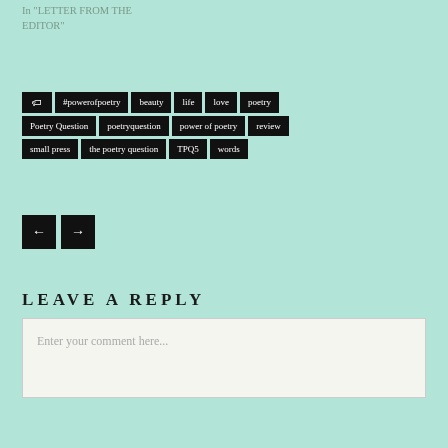In "LETTER FROM THE EDITOR"
#powerofpoetry
beauty
life
love
poetry
Poetry Question
poetryquestion
power of poetry
review
small press
the poetry question
TPQ5
words
LEAVE A REPLY
Enter your comment here...